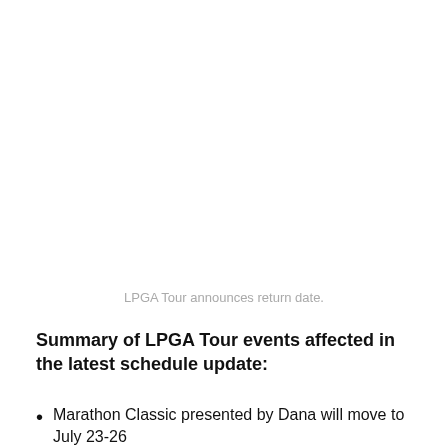LPGA Tour announces return date.
Summary of LPGA Tour events affected in the latest schedule update:
Marathon Classic presented by Dana will move to July 23-26